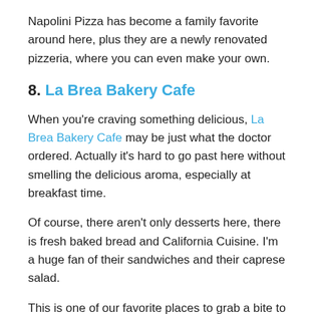Napolini Pizza has become a family favorite around here, plus they are a newly renovated pizzeria, where you can even make your own.
8. La Brea Bakery Cafe
When you're craving something delicious, La Brea Bakery Cafe may be just what the doctor ordered. Actually it's hard to go past here without smelling the delicious aroma, especially at breakfast time.
Of course, there aren't only desserts here, there is fresh baked bread and California Cuisine. I'm a huge fan of their sandwiches and their caprese salad.
This is one of our favorite places to grab a bite to eat. Everyone in our family loves something here!